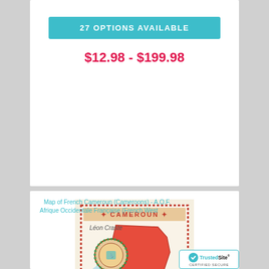27 OPTIONS AVAILABLE
$12.98 - $199.98
[Figure (map): Vintage illustrated map of French Cameroun (Cameroons) with decorative border, showing the country in red/pink tones with ornamental cartouche, title reading CAMEROUN at top]
Map of French Cameroun (Cameroons) - A.O.F. Afrique Occidentale Française (French West Africa)
Léon Craste